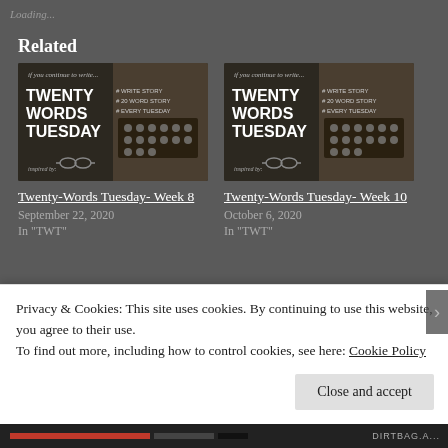Loading...
Related
[Figure (photo): Twenty Words Tuesday promotional image showing a typewriter with text overlay]
Twenty-Words Tuesday- Week 8
September 22, 2020
In "TWT"
[Figure (photo): Twenty Words Tuesday promotional image showing a typewriter with text overlay]
Twenty-Words Tuesday- Week 10
October 6, 2020
In "TWT"
Privacy & Cookies: This site uses cookies. By continuing to use this website, you agree to their use.
To find out more, including how to control cookies, see here: Cookie Policy
Close and accept